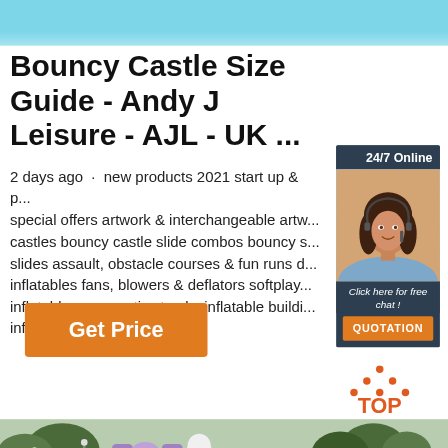[Figure (other): Light blue decorative banner at the top of the page]
Bouncy Castle Size Guide - Andy J Leisure - AJL - UK ...
2 days ago · new products 2021 start up & p... special offers artwork & interchangeable artw... castles bouncy castle slide combos bouncy s... slides assault, obstacle courses & fun runs d... inflatables fans, blowers & deflators softplay... inflatables gymnastics tracks inflatable buildi... inflatable ...
[Figure (other): Advertisement sidebar: dark navy background with '24/7 Online' header, photo of a woman with headset smiling, text 'Click here for free chat!' and orange QUOTATION button]
[Figure (logo): Orange 'TOP' logo with dots arranged in a triangle above the text]
[Figure (photo): Outdoor scene showing inflatable bouncy castles in a field with trees in the background]